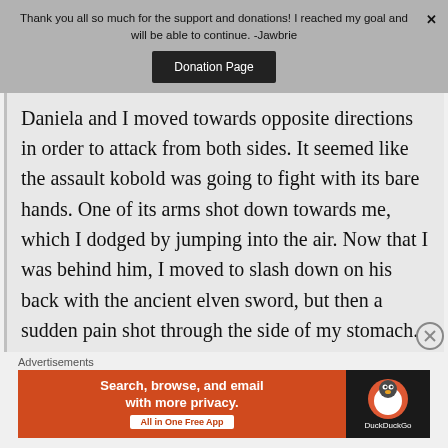Thank you all so much for the support and donations! I reached my goal and will be able to continue. -Jawbrie
Donation Page
Daniela and I moved towards opposite directions in order to attack from both sides. It seemed like the assault kobold was going to fight with its bare hands. One of its arms shot down towards me, which I dodged by jumping into the air. Now that I was behind him, I moved to slash down on his back with the ancient elven sword, but then a sudden pain shot through the side of my stomach.
Advertisements
[Figure (screenshot): DuckDuckGo advertisement banner: 'Search, browse, and email with more privacy. All in One Free App' with DuckDuckGo duck logo on dark background]